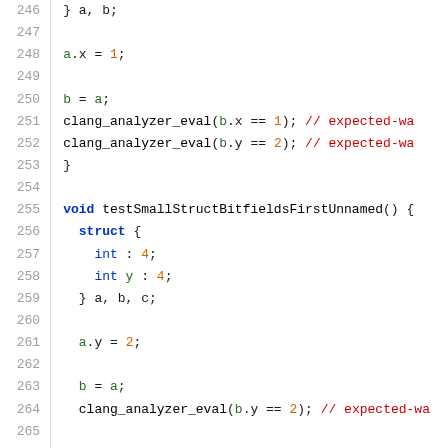Code listing lines 246-266: C code with struct bitfields and clang_analyzer_eval calls